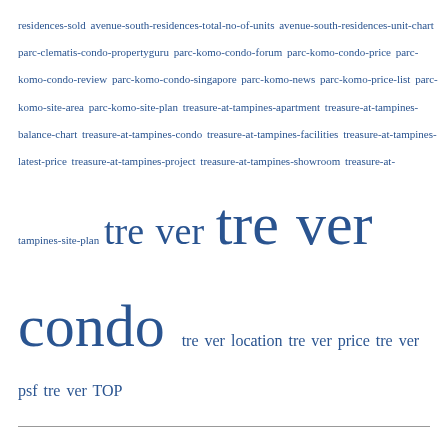residences-sold avenue-south-residences-total-no-of-units avenue-south-residences-unit-chart parc-clematis-condo-propertyguru parc-komo-condo-forum parc-komo-condo-price parc-komo-condo-review parc-komo-condo-singapore parc-komo-news parc-komo-price-list parc-komo-site-area parc-komo-site-plan treasure-at-tampines-apartment treasure-at-tampines-balance-chart treasure-at-tampines-condo treasure-at-tampines-facilities treasure-at-tampines-latest-price treasure-at-tampines-project treasure-at-tampines-showroom treasure-at-tampines-site-plan tre ver tre ver condo tre ver location tre ver price tre ver psf tre ver TOP